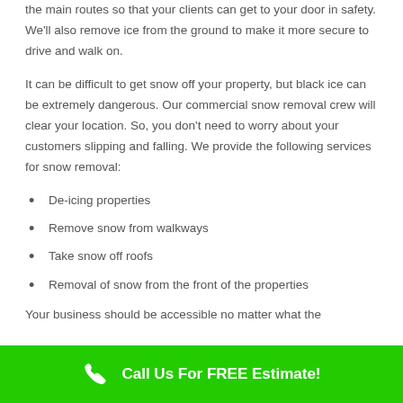the main routes so that your clients can get to your door in safety. We'll also remove ice from the ground to make it more secure to drive and walk on.
It can be difficult to get snow off your property, but black ice can be extremely dangerous. Our commercial snow removal crew will clear your location. So, you don't need to worry about your customers slipping and falling. We provide the following services for snow removal:
De-icing properties
Remove snow from walkways
Take snow off roofs
Removal of snow from the front of the properties
Your business should be accessible no matter what the
Call Us For FREE Estimate!